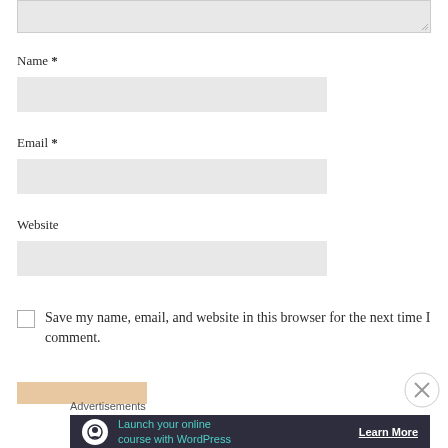[Figure (screenshot): Partially visible text area input field at the top of a comment form]
Name *
[Figure (screenshot): Name input field (empty, light gray background)]
Email *
[Figure (screenshot): Email input field (empty, light gray background)]
Website
[Figure (screenshot): Website input field (empty, light gray background)]
Save my name, email, and website in this browser for the next time I comment.
Advertisements
[Figure (infographic): Dark-themed advertisement banner: 'Launch your online course with WordPress' with a Learn More CTA button and a circular icon]